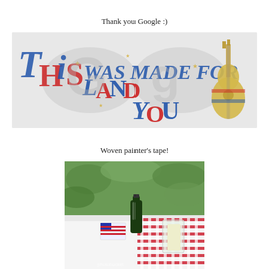Thank you Google :)
[Figure (illustration): Google Doodle with patriotic American flag-themed decorative text reading 'This land was made for you' with red and blue stripes, stars, and a guitar on a light gray background]
Woven painter's tape!
[Figure (photo): Outdoor photo of a white table decorated with red and white striped woven painter's tape pattern, with a glass candle holder, a dark glass bottle (soda), and a small American flag card on top, with green foliage in the background]